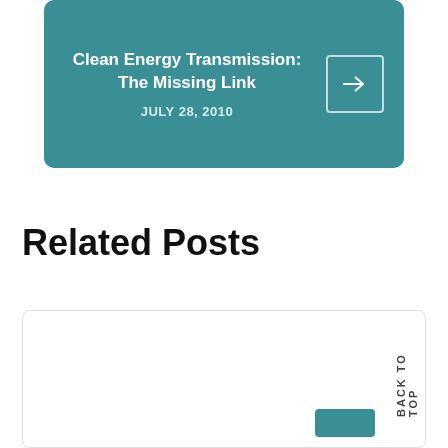Clean Energy Transmission: The Missing Link
JULY 28, 2010
Related Posts